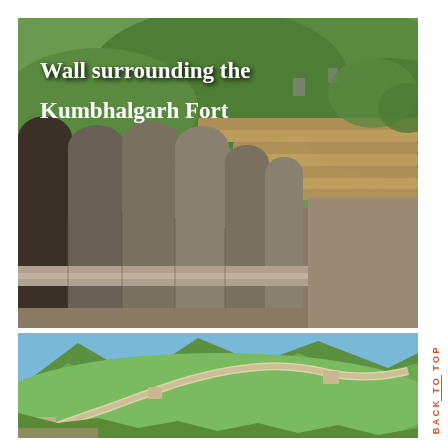[Figure (photo): Aerial/elevated view of the stone wall surrounding Kumbhalgarh Fort, with ornate battlements and towers in the foreground and lush green hillside stretching into the distance. White text overlay reads 'Wall surrounding the Kumbhalgarh Fort'.]
[Figure (photo): Aerial view of the Great Wall of China winding through lush green mountain ridges, with stone watchtowers visible in the foreground and mountains in the background.]
BACK TO TOP